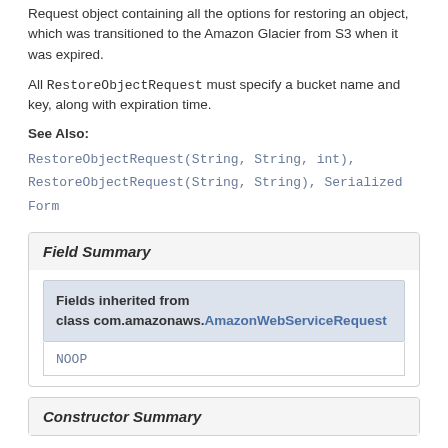Request object containing all the options for restoring an object, which was transitioned to the Amazon Glacier from S3 when it was expired.
All RestoreObjectRequest must specify a bucket name and key, along with expiration time.
See Also:
RestoreObjectRequest(String, String, int), RestoreObjectRequest(String, String), Serialized Form
Field Summary
| Fields inherited from class com.amazonaws.AmazonWebServiceRequest |
| --- |
| NOOP |
Constructor Summary